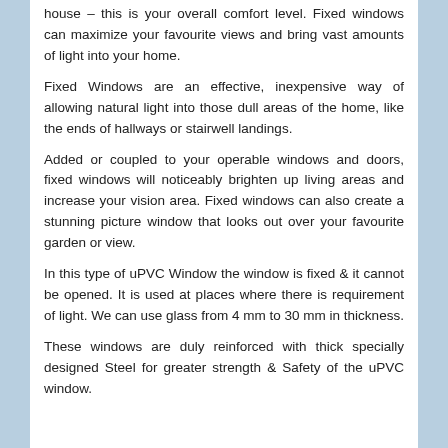house – this is your overall comfort level. Fixed windows can maximize your favourite views and bring vast amounts of light into your home.
Fixed Windows are an effective, inexpensive way of allowing natural light into those dull areas of the home, like the ends of hallways or stairwell landings.
Added or coupled to your operable windows and doors, fixed windows will noticeably brighten up living areas and increase your vision area. Fixed windows can also create a stunning picture window that looks out over your favourite garden or view.
In this type of uPVC Window the window is fixed & it cannot be opened. It is used at places where there is requirement of light. We can use glass from 4 mm to 30 mm in thickness.
These windows are duly reinforced with thick specially designed Steel for greater strength & Safety of the uPVC window.